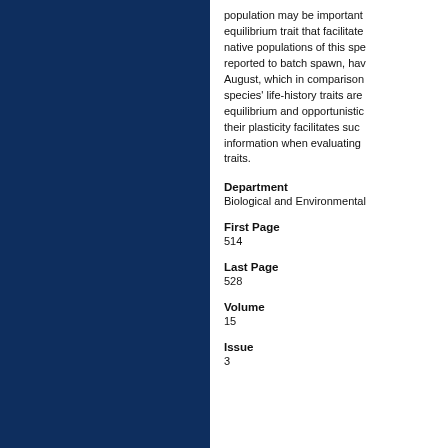population may be important equilibrium trait that facilitates native populations of this spe reported to batch spawn, hav August, which in comparison species' life-history traits are equilibrium and opportunistic their plasticity facilitates suc information when evaluating traits.
Department
Biological and Environmental
First Page
514
Last Page
528
Volume
15
Issue
3